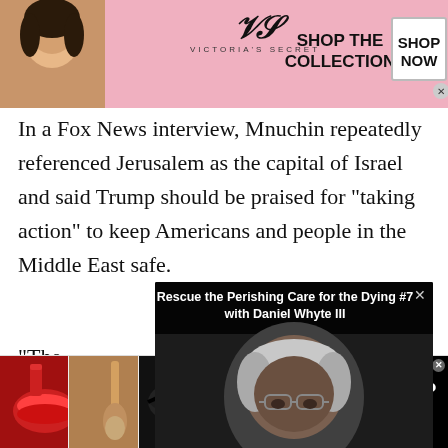[Figure (photo): Victoria's Secret advertisement banner with model photo, VS logo, 'SHOP THE COLLECTION' text and 'SHOP NOW' button on pink background]
In a Fox News interview, Mnuchin repeatedly referenced Jerusalem as the capital of Israel and said Trump should be praised for “taking action” to keep Americans and people in the Middle East safe.
“The beca righ
[Figure (screenshot): Video overlay popup titled 'Rescue the Perishing Care for the Dying #7 with Daniel Whyte III' showing a man with glasses looking down]
[Figure (photo): Ulta Beauty advertisement banner showing makeup products including lips, brush, eye makeup, Ulta logo, and eye closeup with 'SHOP NOW' button]